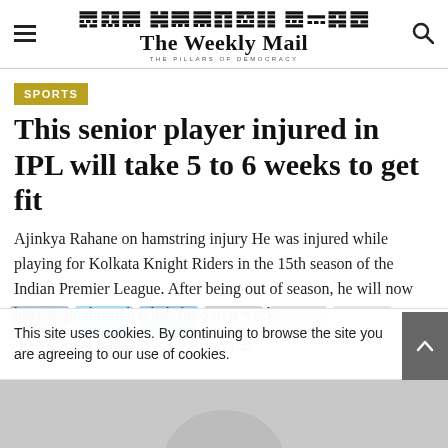The Weekly Mail — THE PILLARS OF DEMOCRACY
SPORTS
This senior player injured in IPL will take 5 to 6 weeks to get fit
Ajinkya Rahane on hamstring injury He was injured while playing for Kolkata Knight Riders in the 15th season of the Indian Premier League. After being out of season, he will now have to go through rehab for 5 to 6 weeks.
Staff Editor  Jun 3, 2022 - 11:48   0
This site uses cookies. By continuing to browse the site you are agreeing to our use of cookies.